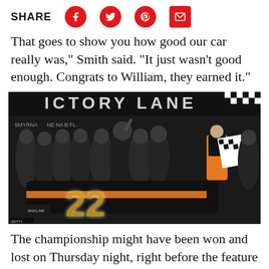SHARE
That goes to show you how good our car really was," Smith said. "It just wasn't good enough. Congrats to William, they earned it."
[Figure (photo): Victory lane celebration photo showing a racing team in black shirts posing in front of car #22 (black and orange stock car) under a 'Victory Lane' banner at Smyrna/New Smyrna speedway. A driver in racing suit holds a checkered flag on the right.]
The championship might have been won and lost on Thursday night, right before the feature when